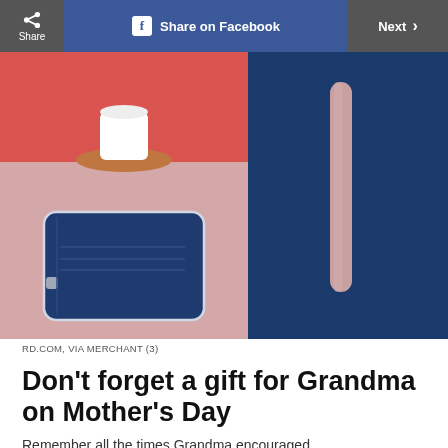Share | Share on Facebook | Next
[Figure (photo): Left half: pink/mauve background with a navy blue hard-shell suitcase in the lower portion, and a terracotta pot with white item visible at top. Right half: dark navy blue background with a pink/rose gold nail file or bar visible.]
RD.COM, VIA MERCHANT (3)
Don't forget a gift for Grandma on Mother's Day
Remember all the times Grandma encouraged